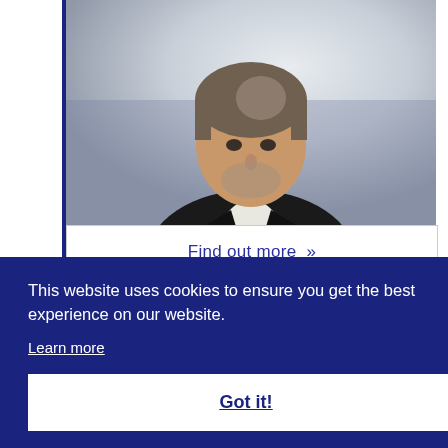[Figure (photo): Portrait photo of a middle-aged man with grey-streaked hair and beard, wearing a dark blazer and white shirt, photographed against a light grey background]
Find out more »
This website uses cookies to ensure you get the best experience on our website.
Learn more
Got it!
hands-on, practical industry relevant